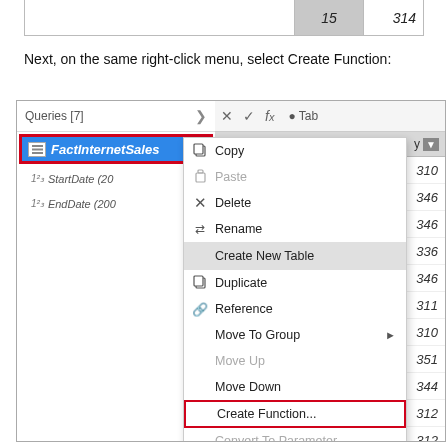[Figure (screenshot): Partial table screenshot showing row with value 15 and 314]
Next, on the same right-click menu, select Create Function:
[Figure (screenshot): Power Query Editor screenshot showing Queries panel with FactInternetSales selected and right-click context menu open. Menu items: Copy, Paste, Delete, Rename, Create New Table (highlighted), Duplicate, Reference, Move To Group, Move Up, Move Down, Create Function... (highlighted with red border), Convert To Parameter, Advanced Editor, Properties. Right panel shows toolbar with X, checkmark, fx buttons and data column with values 310, 346, 346, 336, 346, 311, 310, 351, 344, 312, 312, 330, 313, 314]